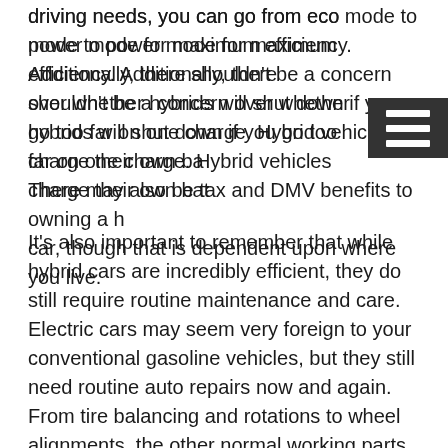driving needs, you can go from eco mode to power mode for maximum efficiency. Additionally, there shouldn't be a concern over whether hybrids will shut down if you go too far on one charge. Hybrid vehicles charge their own ba... There may also be tax and DMV benefits to owning a hy... car, though that is dependent upon where you live.
It's also important to remember that while hybrid cars are incredibly efficient, they do still require routine maintenance and care. Electric cars may seem very foreign to your conventional gasoline vehicles, but they still need routine auto repairs now and again. From tire balancing and rotations to wheel alignments, the other normal working parts of your car are primarily the same. The pros at Antero Automotive are true craftsmen and can tackle anything from a suspension issue to inspection and replacement of brake fluids. We even have the capability to work on Tesla's!